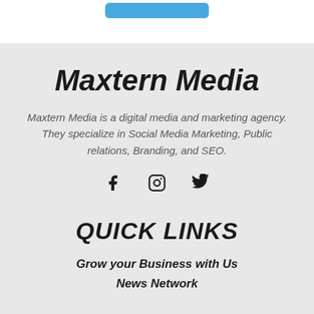[Figure (other): Blue rounded button/banner element at the top of the page]
Maxtern Media
Maxtern Media is a digital media and marketing agency. They specialize in Social Media Marketing, Public relations, Branding, and SEO.
[Figure (other): Social media icons: Facebook, Instagram, Twitter]
QUICK LINKS
Grow your Business with Us
News Network